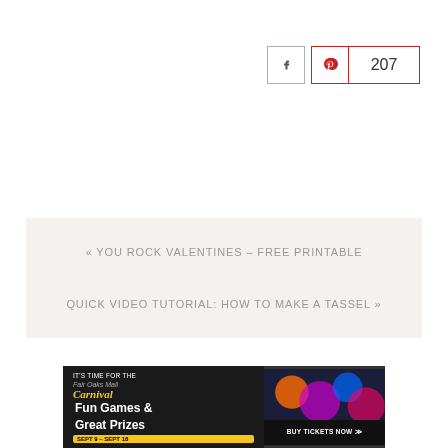[Figure (other): Social sharing buttons: Facebook icon button and Pinterest icon button with count 207]
« YOU ROCK VALENTINES – FREE PRINTABLE
QUICK VIDEO TUTORIAL: HOW TO MAKE A TASSEL »
[Figure (other): Advertisement banner for Fair Oaks Mall Carnival: Fun Games & Great Prizes, Sept 9 - Sept 18, BUY TICKETS NOW with carnival imagery on right side]